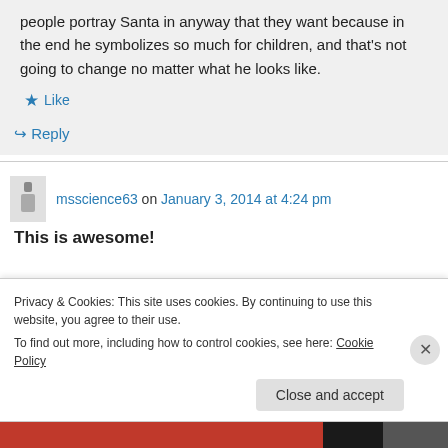people portray Santa in anyway that they want because in the end he symbolizes so much for children, and that's not going to change no matter what he looks like.
Like
Reply
msscience63 on January 3, 2014 at 4:24 pm
This is awesome!
Privacy & Cookies: This site uses cookies. By continuing to use this website, you agree to their use.
To find out more, including how to control cookies, see here: Cookie Policy
Close and accept